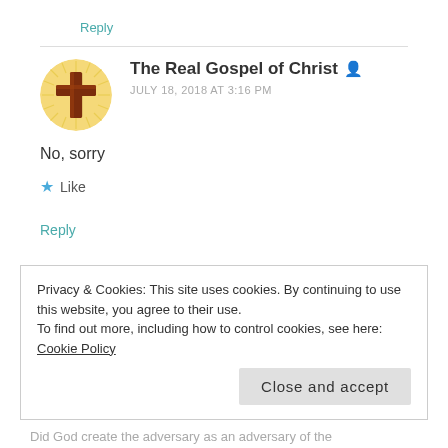Reply
The Real Gospel of Christ
JULY 18, 2018 AT 3:16 PM
[Figure (illustration): Circular avatar with a dark wooden cross on a golden sunburst background]
No, sorry
Like
Reply
Privacy & Cookies: This site uses cookies. By continuing to use this website, you agree to their use.
To find out more, including how to control cookies, see here: Cookie Policy
Close and accept
Did God create the adversary as an adversary of the